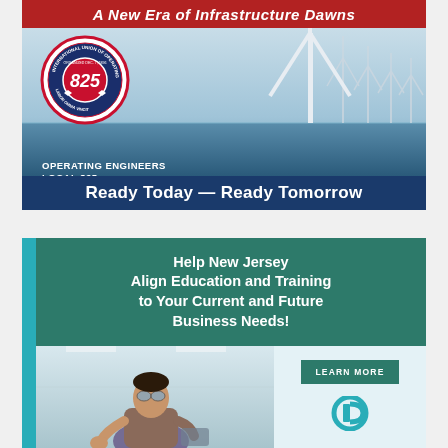[Figure (infographic): Operating Engineers Local 825 advertisement with wind turbines offshore background, union logo, red header bar saying 'A New Era of Infrastructure Dawns', and blue footer 'Ready Today — Ready Tomorrow']
[Figure (infographic): New Jersey workforce development ad: green header 'Help New Jersey Align Education and Training to Your Current and Future Business Needs!', photo of person in lab/workshop, 'LEARN MORE' button, and organization logo]